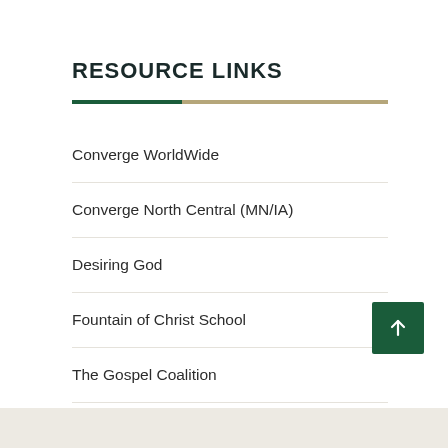RESOURCE LINKS
Converge WorldWide
Converge North Central (MN/IA)
Desiring God
Fountain of Christ School
The Gospel Coalition